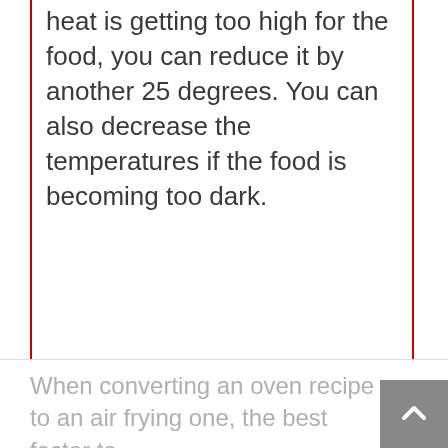heat is getting too high for the food, you can reduce it by another 25 degrees. You can also decrease the temperatures if the food is becoming too dark.
When converting an oven recipe to an air frying one, the best factor to